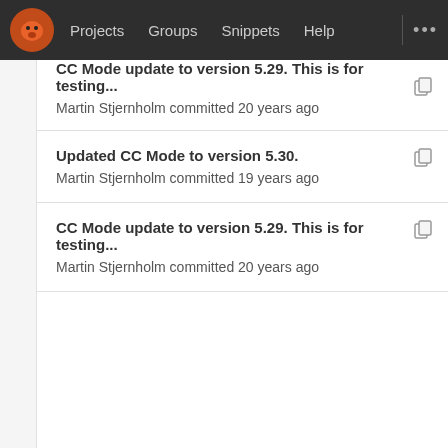Projects  Groups  Snippets  Help  ...
CC Mode update to version 5.29. This is for testing...
Martin Stjernholm committed 20 years ago
Updated CC Mode to version 5.30.
Martin Stjernholm committed 19 years ago
CC Mode update to version 5.29. This is for testing...
Martin Stjernholm committed 20 years ago
Updated CC Mode to version 5.30.
Martin Stjernholm committed 19 years ago